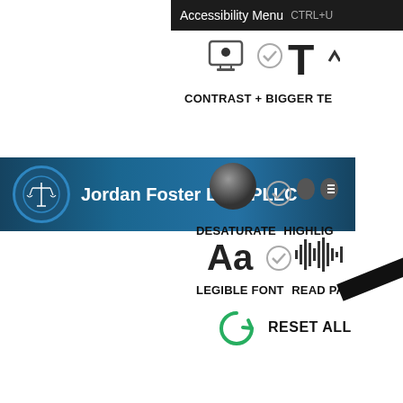[Figure (screenshot): Accessibility menu overlay on a law firm website. Shows accessibility toolbar with options: CONTRAST, BIGGER TEXT, DESATURATE, HIGHLIGHT, LEGIBLE FONT, READ PAGE, and RESET ALL. The keyboard shortcut CTRL+U is shown. Below is the Jordan Foster Law, PLLC website header with logo.]
Jordan Foster Law, PLLC